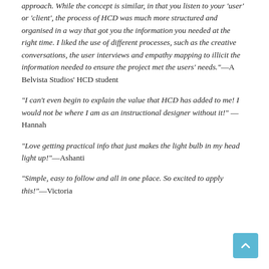approach. While the concept is similar, in that you listen to your 'user' or 'client', the process of HCD was much more structured and organised in a way that got you the information you needed at the right time. I liked the use of different processes, such as the creative conversations, the user interviews and empathy mapping to illicit the information needed to ensure the project met the users' needs."—A Belvista Studios' HCD student
"I can't even begin to explain the value that HCD has added to me! I would not be where I am as an instructional designer without it!" —Hannah
"Love getting practical info that just makes the light bulb in my head light up!"—Ashanti
"Simple, easy to follow and all in one place. So excited to apply this!"—Victoria